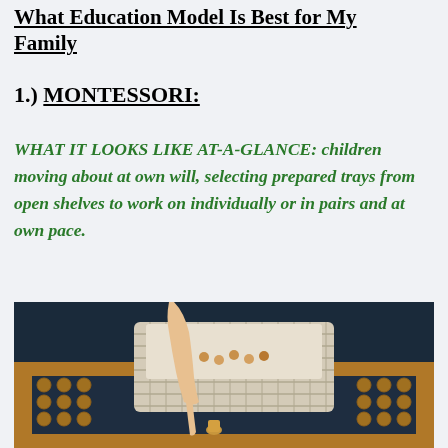What Education Model Is Best for My Family
1.) MONTESSORI:
WHAT IT LOOKS LIKE AT-A-GLANCE: children moving about at own will, selecting prepared trays from open shelves to work on individually or in pairs and at own pace.
[Figure (photo): A child's hand reaching into a woven basket sitting on a wooden Montessori tray board with circular cutouts, on a dark surface.]